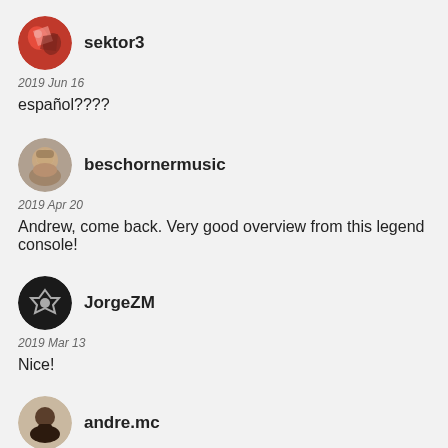sektor3
2019 Jun 16
español????
beschornermusic
2019 Apr 20
Andrew, come back. Very good overview from this legend console!
JorgeZM
2019 Mar 13
Nice!
andre.mc
2019 Mar 08